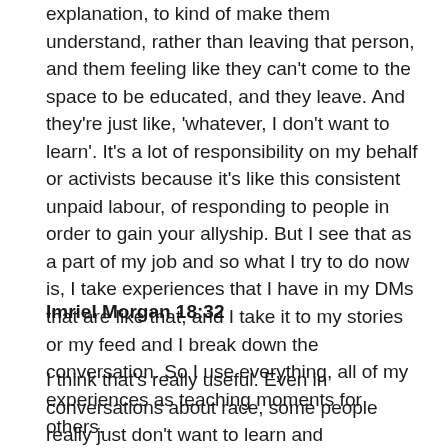explanation, to kind of make them understand, rather than leaving that person, and them feeling like they can't come to the space to be educated, and they leave. And they're just like, 'whatever, I don't want to learn'. It's a lot of responsibility on my behalf or activists because it's like this consistent unpaid labour, of responding to people in order to gain your allyship. But I see that as a part of my job and so what I try to do now is, I take experiences that I have in my DMs that are like that, and I take it to my stories or my feed and I break down the conversation. So I use everything, all of my experiences as teaching moments for others.
Imriel Morgan 18:32
I think that's really useful. Even in conversations about race, some people really just don't want to learn and